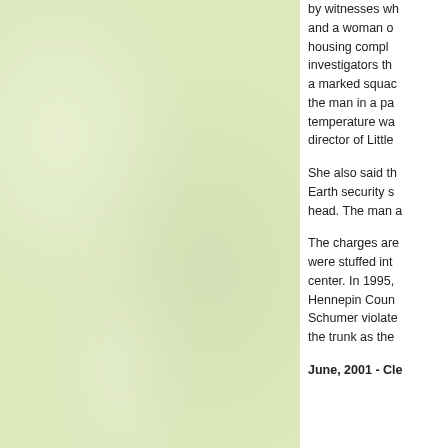[Figure (photo): A light yellow-green textured background image occupying the left portion of the page]
by witnesses wh and a woman o housing compl investigators th a marked squac the man in a pa temperature wa director of Littl
She also said th Earth security s head. The man a
The charges are were stuffed int center. In 1995, Hennepin Coun Schumer violate the trunk as the
June, 2001 - Cle